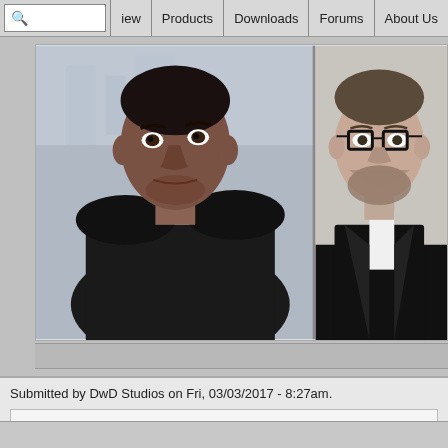lew | Products | Downloads | Forums | About Us
[Figure (photo): Two photos side by side: left shows a Black man in dark clothing leaning forward intensely, right shows a white man with glasses and beard in a suit.]
Submitted by DwD Studios on Fri, 03/03/2017 - 8:27am.
It's fun that you're using actor faces rather than illustrated ones for the characters - looks very realistic - I wonder why I haven't tried that before?!